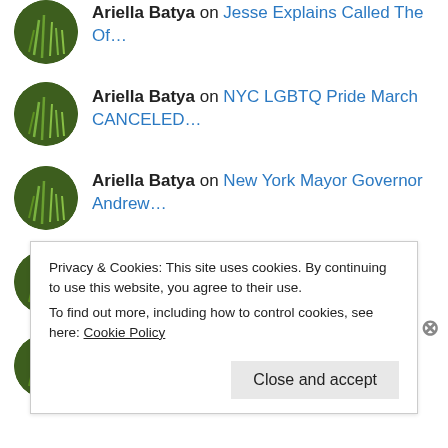Ariella Batya on Jesse Explains Called The Of...
Ariella Batya on NYC LGBTQ Pride March CANCELED...
Ariella Batya on New York Mayor Governor Andrew...
Ariella Batya on Guinea Govt Arrests All Chines...
Ariella Batya on Chinese Use Black...
Privacy & Cookies: This site uses cookies. By continuing to use this website, you agree to their use.
To find out more, including how to control cookies, see here: Cookie Policy
Close and accept